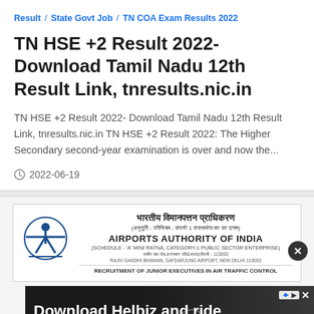Result / State Govt Job / TN COA Exam Results 2022
TN HSE +2 Result 2022- Download Tamil Nadu 12th Result Link, tnresults.nic.in
TN HSE +2 Result 2022- Download Tamil Nadu 12th Result Link, tnresults.nic.in TN HSE +2 Result 2022: The Higher Secondary second-year examination is over and now the...
2022-06-19
[Figure (screenshot): Airports Authority of India (AAI) recruitment advertisement card with AAI logo on the left, Hindi and English text headers, and a 'Download Helbiz and ride' advertisement banner below with a close button]